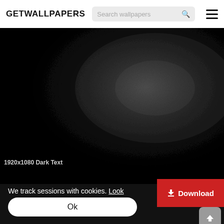GETWALLPAPERS
[Figure (photo): Black leather texture wallpaper with a subtle light reflection in the center-right area, very dark overall]
1920x1080 Dark Text
We track sessions with cookies. Look
Ok
Download